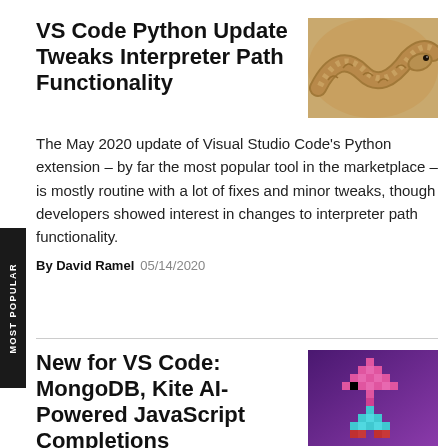VS Code Python Update Tweaks Interpreter Path Functionality
[Figure (photo): Close-up photo of a snake (python), tan/golden colored, showing head and scales on a textured background.]
The May 2020 update of Visual Studio Code's Python extension – by far the most popular tool in the marketplace – is mostly routine with a lot of fixes and minor tweaks, though developers showed interest in changes to interpreter path functionality.
By David Ramel  05/14/2020
New for VS Code: MongoDB, Kite AI-Powered JavaScript Completions
[Figure (illustration): Purple/violet background with pixelated arrow/chevron shapes in pink and teal colors arranged in a grid pattern.]
This week sees several significant